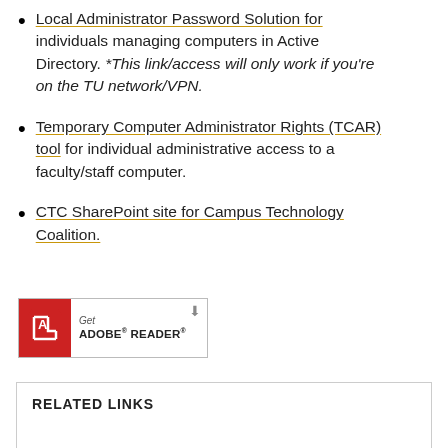Local Administrator Password Solution for individuals managing computers in Active Directory. *This link/access will only work if you're on the TU network/VPN.
Temporary Computer Administrator Rights (TCAR) tool for individual administrative access to a faculty/staff computer.
CTC SharePoint site for Campus Technology Coalition.
[Figure (logo): Get Adobe Reader button with red Adobe PDF icon and download arrow]
RELATED LINKS